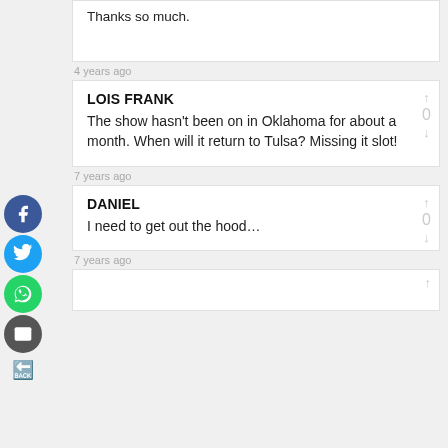Thanks so much.
4 years ago
LOIS FRANK
The show hasn't been on in Oklahoma for about a month. When will it return to Tulsa? Missing it slot!
7 years ago
DANIEL
I need to get out the hood…
7 years ago